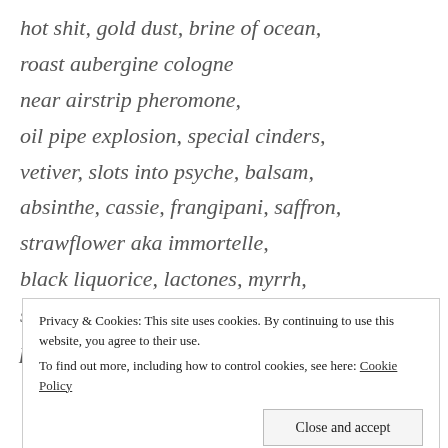hot shit, gold dust, brine of ocean,
roast aubergine cologne
near airstrip pheromone,
oil pipe explosion, special cinders,
vetiver, slots into psyche, balsam,
absinthe, cassie, frangipani, saffron,
strawflower aka immortelle,
black liquorice, lactones, myrrh,
sassafras, fruit loops, chocolate ice,
pamplemousse or french for grapefruit
Privacy & Cookies: This site uses cookies. By continuing to use this website, you agree to their use.
To find out more, including how to control cookies, see here: Cookie Policy
Close and accept